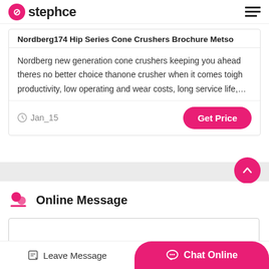stephce
Nordberg174 Hip Series Cone Crushers Brochure Metso
Nordberg new generation cone crushers keeping you ahead theres no better choice thanone crusher when it comes toigh productivity, low operating and wear costs, long service life,…
Jan_15
Get Price
Online Message
Leave Message
Chat Online